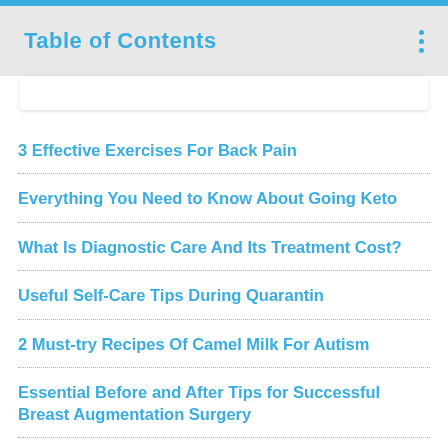Table of Contents
3 Effective Exercises For Back Pain
Everything You Need to Know About Going Keto
What Is Diagnostic Care And Its Treatment Cost?
Useful Self-Care Tips During Quarantin
2 Must-try Recipes Of Camel Milk For Autism
Essential Before and After Tips for Successful Breast Augmentation Surgery
7 Wonderful Health Benefits of Drinking Organic